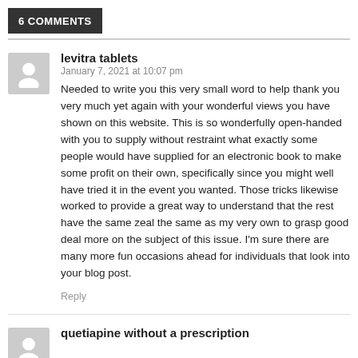6 COMMENTS
levitra tablets
January 7, 2021 at 10:07 pm
Needed to write you this very small word to help thank you very much yet again with your wonderful views you have shown on this website. This is so wonderfully open-handed with you to supply without restraint what exactly some people would have supplied for an electronic book to make some profit on their own, specifically since you might well have tried it in the event you wanted. Those tricks likewise worked to provide a great way to understand that the rest have the same zeal the same as my very own to grasp good deal more on the subject of this issue. I'm sure there are many more fun occasions ahead for individuals that look into your blog post.
Reply
quetiapine without a prescription